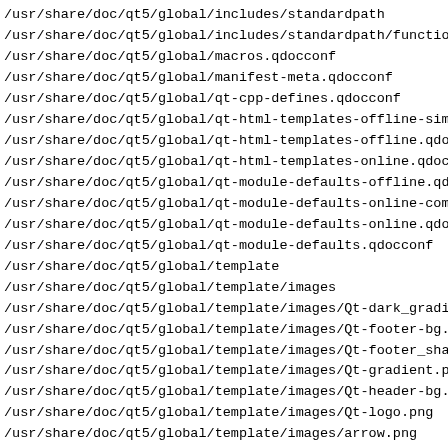/usr/share/doc/qt5/global/includes/standardpath
/usr/share/doc/qt5/global/includes/standardpath/functiond
/usr/share/doc/qt5/global/macros.qdocconf
/usr/share/doc/qt5/global/manifest-meta.qdocconf
/usr/share/doc/qt5/global/qt-cpp-defines.qdocconf
/usr/share/doc/qt5/global/qt-html-templates-offline-simpl
/usr/share/doc/qt5/global/qt-html-templates-offline.qdocc
/usr/share/doc/qt5/global/qt-html-templates-online.qdocc
/usr/share/doc/qt5/global/qt-module-defaults-offline.qdoc
/usr/share/doc/qt5/global/qt-module-defaults-online-comme
/usr/share/doc/qt5/global/qt-module-defaults-online.qdocc
/usr/share/doc/qt5/global/qt-module-defaults.qdocconf
/usr/share/doc/qt5/global/template
/usr/share/doc/qt5/global/template/images
/usr/share/doc/qt5/global/template/images/Qt-dark_gradien
/usr/share/doc/qt5/global/template/images/Qt-footer-bg.jp
/usr/share/doc/qt5/global/template/images/Qt-footer_shade
/usr/share/doc/qt5/global/template/images/Qt-gradient.png
/usr/share/doc/qt5/global/template/images/Qt-header-bg.jp
/usr/share/doc/qt5/global/template/images/Qt-logo.png
/usr/share/doc/qt5/global/template/images/arrow.png
/usr/share/doc/qt5/global/template/images/arrow_bc.png
/usr/share/doc/qt5/global/template/images/arrow_down.png
/usr/share/doc/qt5/global/template/images/bg_l.png
/usr/share/doc/qt5/global/template/images/bg_l_blank.png
/usr/share/doc/qt5/global/template/images/bg_ll_blank.png
/usr/share/doc/qt5/global/template/images/bg_r.png
/usr/share/doc/qt5/global/template/images/bg_ul_blank.png
/usr/share/doc/qt5/global/template/images/bgrContent.png
/usr/share/doc/qt5/global/template/images/blu_dot.png